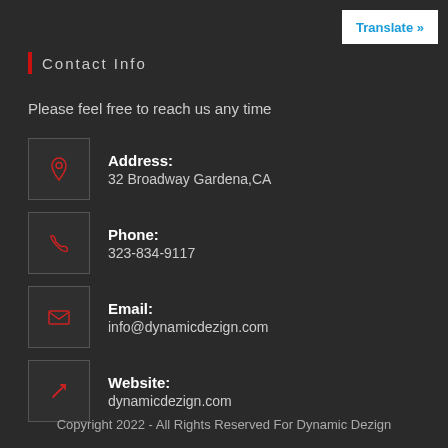Translate »
Contact Info
Please feel free to reach us any time
Address: 32 Broadway Gardena,CA
Phone: 323-834-9117
Email: info@dynamicdezign.com
Website: dynamicdezign.com
Copyright 2022 - All Rights Reserved For Dynamic Dezign